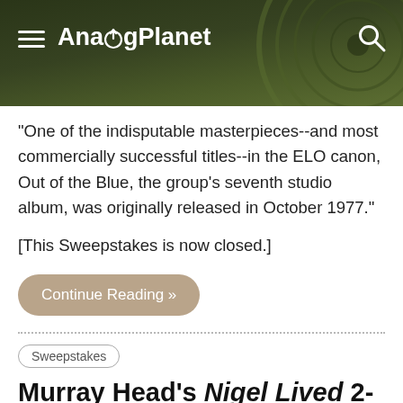AnalogPlanet
"One of the indisputable masterpieces--and most commercially successful titles--in the ELO canon, Out of the Blue, the group's seventh studio album, was originally released in October 1977."
[This Sweepstakes is now closed.]
Continue Reading »
Sweepstakes
Murray Head's Nigel Lived 2-Disc 45 RPM Set Sweepstakes